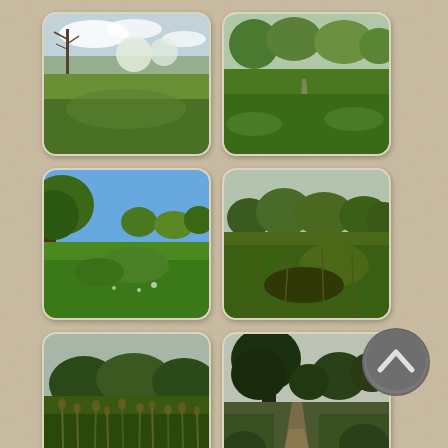[Figure (photo): Meadow with bare tree on left, white flowering trees in background, cloudy sky, green grass field]
[Figure (photo): Green meadow with path leading through it, trees in background, green foliage]
[Figure (photo): Green field with trees, bright blue sky with green chestnut tree on left foreground]
[Figure (photo): Open grassland with tall grass and trees in background, overcast sky]
[Figure (photo): Tall reeds and grass in foreground, trees in background, overcast sky]
[Figure (photo): Dirt path through woodland with large tree on left, overcast sky]
[Figure (photo): Tall poplar trees against grey sky, partial view]
[Figure (photo): Dense trees with autumn foliage, dark overcast sky]
[Figure (illustration): Dark grey circle button with upward chevron arrow icon]